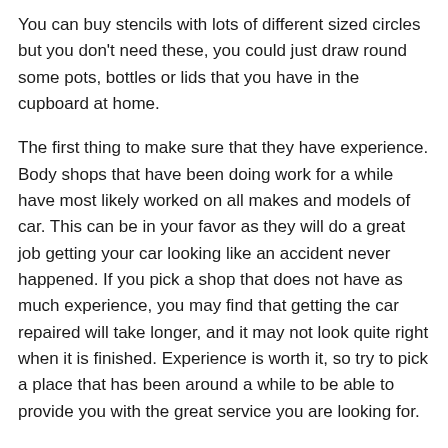You can buy stencils with lots of different sized circles but you don't need these, you could just draw round some pots, bottles or lids that you have in the cupboard at home.
The first thing to make sure that they have experience. Body shops that have been doing work for a while have most likely worked on all makes and models of car. This can be in your favor as they will do a great job getting your car looking like an accident never happened. If you pick a shop that does not have as much experience, you may find that getting the car repaired will take longer, and it may not look quite right when it is finished. Experience is worth it, so try to pick a place that has been around a while to be able to provide you with the great service you are looking for.
← Return Your Leased Car Scratch And Rock Chip Free With Paint Touch-